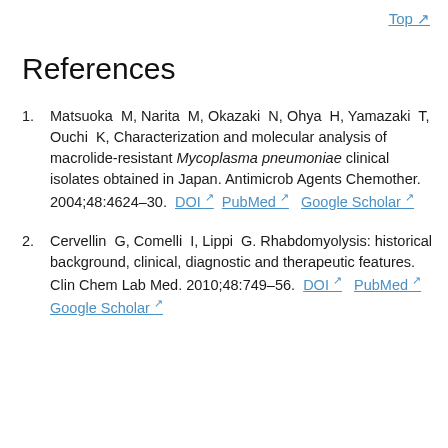Top
References
Matsuoka M, Narita M, Okazaki N, Ohya H, Yamazaki T, Ouchi K, Characterization and molecular analysis of macrolide-resistant Mycoplasma pneumoniae clinical isolates obtained in Japan. Antimicrob Agents Chemother. 2004;48:4624–30. DOI PubMed Google Scholar
Cervellin G, Comelli I, Lippi G. Rhabdomyolysis: historical background, clinical, diagnostic and therapeutic features. Clin Chem Lab Med. 2010;48:749–56. DOI PubMed Google Scholar